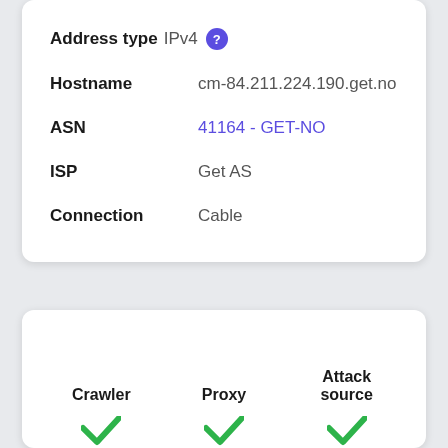Address type IPv4 ?
Hostname   cm-84.211.224.190.get.no
ASN   41164 - GET-NO
ISP   Get AS
Connection   Cable
Crawler   Proxy   Attack source